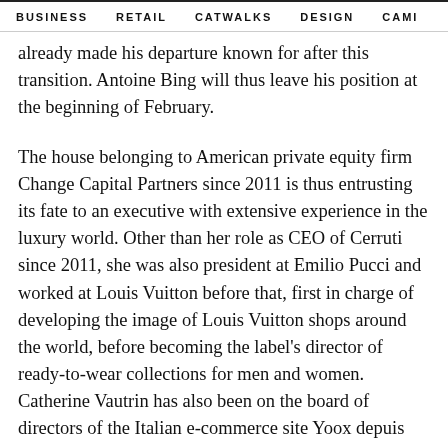BUSINESS   RETAIL   CATWALKS   DESIGN   CAMI  >
already made his departure known for after this transition. Antoine Bing will thus leave his position at the beginning of February.
The house belonging to American private equity firm Change Capital Partners since 2011 is thus entrusting its fate to an executive with extensive experience in the luxury world. Other than her role as CEO of Cerruti since 2011, she was also president at Emilio Pucci and worked at Louis Vuitton before that, first in charge of developing the image of Louis Vuitton shops around the world, before becoming the label's director of ready-to-wear collections for men and women. Catherine Vautrin has also been on the board of directors of the Italian e-commerce site Yoox depuis 2009.